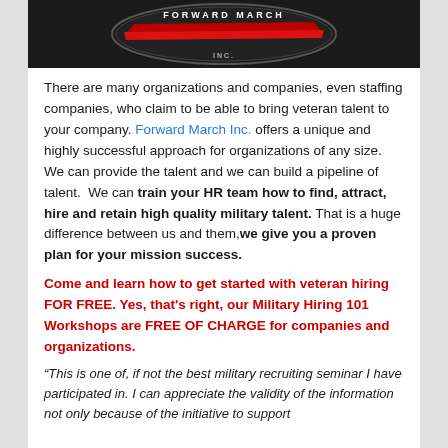[Figure (logo): Forward March Inc. logo - dark elliptical badge with red stripe and white text on black background]
There are many organizations and companies, even staffing companies, who claim to be able to bring veteran talent to your company. Forward March Inc. offers a unique and highly successful approach for organizations of any size. We can provide the talent and we can build a pipeline of talent. We can train your HR team how to find, attract, hire and retain high quality military talent. That is a huge difference between us and them, we give you a proven plan for your mission success.
Come and learn how to get started with veteran hiring FOR FREE. Yes, that's right, our Military Hiring 101 Workshops are FREE OF CHARGE for companies and organizations.
“This is one of, if not the best military recruiting seminar I have participated in. I can appreciate the validity of the information not only because of the initiative to support